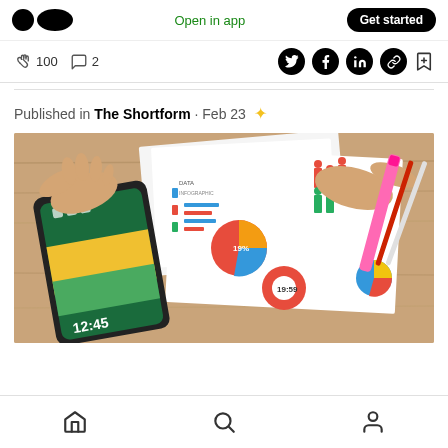Medium app header — logo, Open in app, Get started
👏 100   💬 2  [Twitter] [Facebook] [LinkedIn] [Link] [Bookmark]
Published in The Shortform · Feb 23 ✦
[Figure (photo): Overhead view of hands working at a wooden desk with a Samsung Galaxy smartphone, printed infographic/chart sheets with pie charts, bar charts, and icons, and pink and red highlighter markers.]
Bottom navigation: Home, Search, Profile